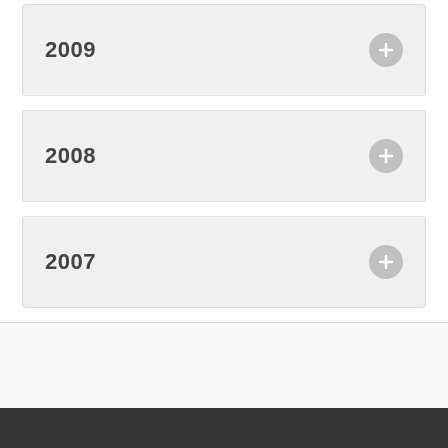2009
2008
2007
Supported Software